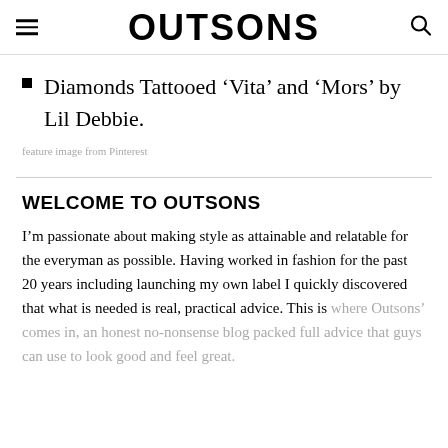OUTSONS
Diamonds Tattooed ‘Vita’ and ‘Mors’ by Lil Debbie.
feature image from Pinterest
WELCOME TO OUTSONS
I’m passionate about making style as attainable and relatable for the everyman as possible. Having worked in fashion for the past 20 years including launching my own label I quickly discovered that what is needed is real, practical advice. This is where Outsons’ comes in, an honest no-nonsense blog packed full advice that guys can use to look good and feel great.